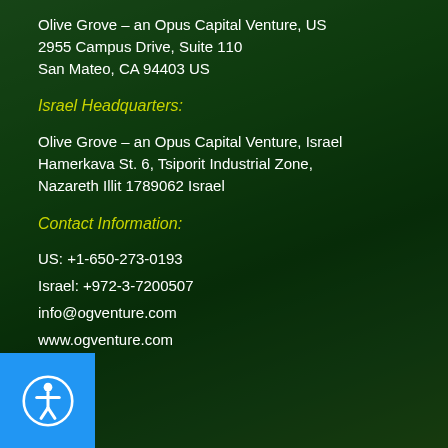Olive Grove – an Opus Capital Venture, US
2955 Campus Drive, Suite 110
San Mateo, CA 94403 US
Israel Headquarters:
Olive Grove – an Opus Capital Venture, Israel
Hamerkava St. 6, Tsiporit Industrial Zone,
Nazareth Illit 1789062 Israel
Contact Information:
US: +1-650-273-0193
Israel: +972-3-7200507
info@ogventure.com
www.ogventure.com
[Figure (other): Accessibility button (blue circle with person icon) in the bottom-left corner]